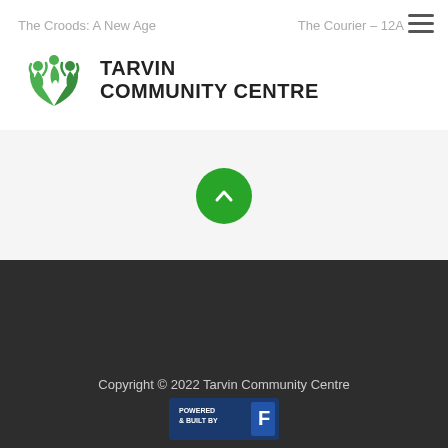The Croods: A New Age    The Courier – 12A
[Figure (logo): Tarvin Community Centre logo with green figures and leaves icon, bold text reading TARVIN COMMUNITY CENTRE]
[Figure (illustration): Green circular scroll-to-top button with upward chevron arrow]
[Figure (logo): White version of Tarvin Community Centre figures and leaves logo on dark background]
Copyright © 2022 Tarvin Community Centre
[Figure (logo): Powered & Built By badge with F logo in blue square]